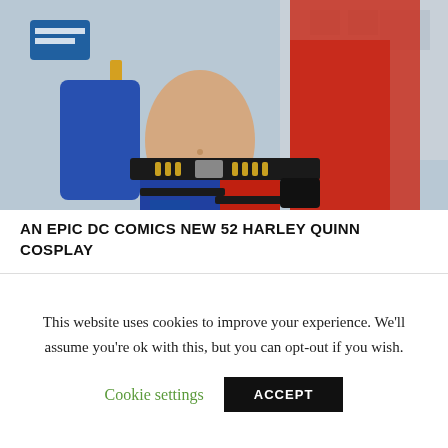[Figure (photo): Cosplay photo of a person dressed as Harley Quinn (DC Comics New 52 version) with red and blue outfit, utility belt with bullets, thigh straps, on a busy street background]
AN EPIC DC COMICS NEW 52 HARLEY QUINN COSPLAY
Leave a Reply
This website uses cookies to improve your experience. We'll assume you're ok with this, but you can opt-out if you wish.
Cookie settings | ACCEPT